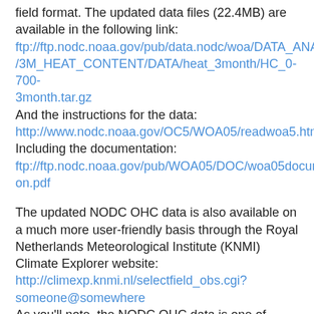field format. The updated data files (22.4MB) are available in the following link: ftp://ftp.nodc.noaa.gov/pub/data.nodc/woa/DATA_ANALYSIS/3M_HEAT_CONTENT/DATA/heat_3month/HC_0-700-3month.tar.gz And the instructions for the data: http://www.nodc.noaa.gov/OC5/WOA05/readwoa5.html Including the documentation: ftp://ftp.nodc.noaa.gov/pub/WOA05/DOC/woa05documentation.pdf
The updated NODC OHC data is also available on a much more user-friendly basis through the Royal Netherlands Meteorological Institute (KNMI) Climate Explorer website: http://climexp.knmi.nl/selectfield_obs.cgi?someone@somewhere As you'll note, the NODC OHC data is one of many datasets that KNMI maintains and makes available to the public.
Open the Climate Explorer webpage. Scroll down and click on the "Heat content" "1955-now: NODC 0-700m" field for the NODC OHC data. Scroll back up, click on "Select Field"